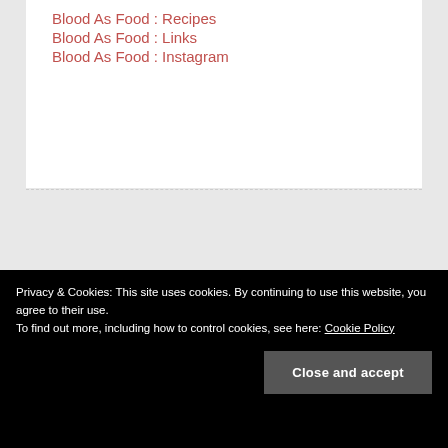Blood As Food : Recipes
Blood As Food : Links
Blood As Food : Instagram
SEARCH
Search …
Privacy & Cookies: This site uses cookies. By continuing to use this website, you agree to their use.
To find out more, including how to control cookies, see here: Cookie Policy
Close and accept